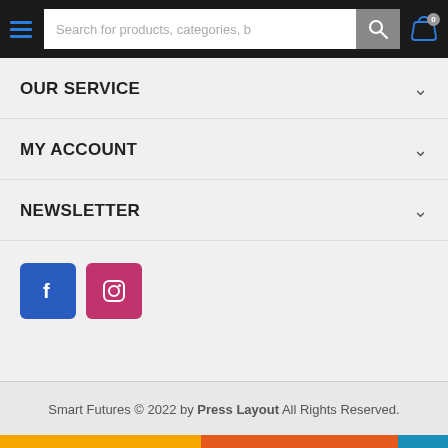Search for products, categories, b
OUR SERVICE
MY ACCOUNT
NEWSLETTER
[Figure (illustration): Facebook and Instagram social media icon buttons]
Smart Futures © 2022 by Press Layout All Rights Reserved.
ADD TO CART
BUY NOW